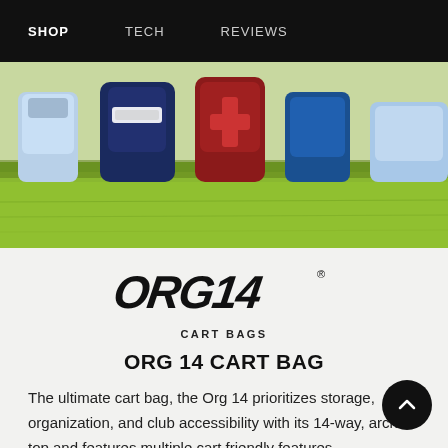SHOP   TECH   REVIEWS
[Figure (photo): Golf bags on grass, including Callaway branded bags, viewed from low angle]
[Figure (logo): ORG 14 stylized logo in bold italic black text with registered trademark symbol]
CART BAGS
ORG 14 CART BAG
The ultimate cart bag, the Org 14 prioritizes storage, organization, and club accessibility with its 14-way, arched top and features multiple cart friendly features.